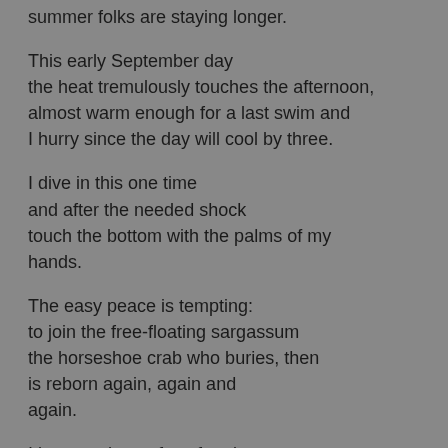summer folks are staying longer.
This early September day
the heat tremulously touches the afternoon,
almost warm enough for a last swim and
I hurry since the day will cool by three.
I dive in this one time
and after the needed shock
touch the bottom with the palms of my
hands.
The easy peace is tempting:
to join the free-floating sargassum
the horseshoe crab who buries, then
is reborn again, again and
again.
I burst to the surface for air.
On the way home
taste the sea tears on my lips,